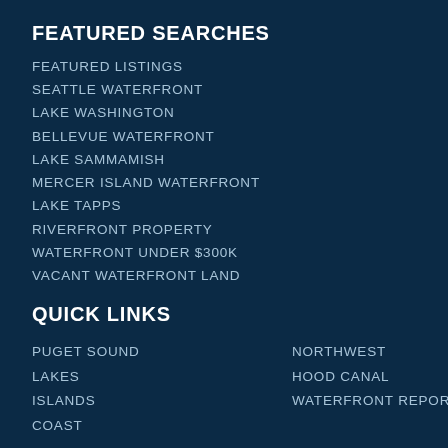FEATURED SEARCHES
FEATURED LISTINGS
SEATTLE WATERFRONT
LAKE WASHINGTON
BELLEVUE WATERFRONT
LAKE SAMMAMISH
MERCER ISLAND WATERFRONT
LAKE TAPPS
RIVERFRONT PROPERTY
WATERFRONT UNDER $300K
VACANT WATERFRONT LAND
QUICK LINKS
PUGET SOUND
LAKES
ISLANDS
COAST
NORTHWEST
HOOD CANAL
WATERFRONT REPORT
[Figure (logo): Compass logo with accessibility icon in green circle and OMPASS text]